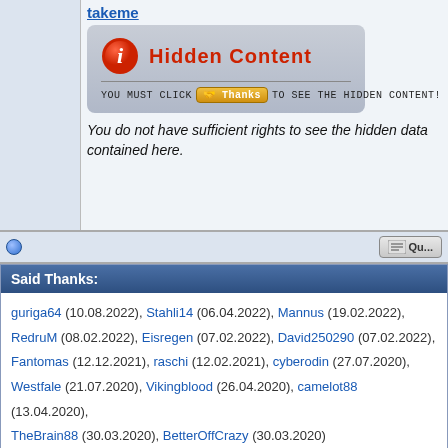takeme
[Figure (screenshot): Hidden Content box with red info icon and 'YOU MUST CLICK Thanks TO SEE THE HIDDEN CONTENT!' message]
You do not have sufficient rights to see the hidden data contained here.
Said Thanks:
guriga64 (10.08.2022), Stahli14 (06.04.2022), Mannus (19.02.2022), RedruM (08.02.2022), Eisregen (07.02.2022), David250290 (07.02.2022), Fantomas (12.12.2021), raschi (12.02.2021), cyberodin (27.07.2020), Westfale (21.07.2020), Vikingblood (26.04.2020), camelot88 (13.04.2020), TheBrain88 (30.03.2020), BetterOffCrazy (30.03.2020)
06.02.2022, 01:09
#2
Wald7
Member
Join Date: 06.03.2021 Posts: 518
Henri - Acoustic covers 2
[Figure (photo): Green-tinted album cover image showing the word Henri in italic script with a person's silhouette]